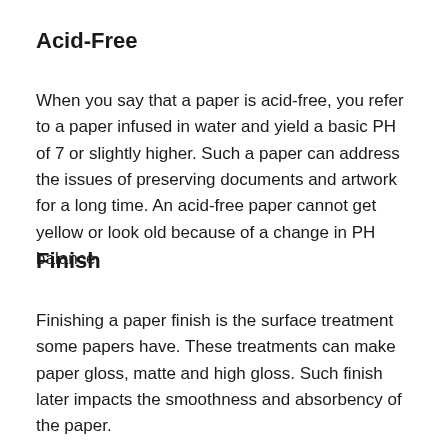Acid-Free
When you say that a paper is acid-free, you refer to a paper infused in water and yield a basic PH of 7 or slightly higher. Such a paper can address the issues of preserving documents and artwork for a long time. An acid-free paper cannot get yellow or look old because of a change in PH balance.
Finish
Finishing a paper finish is the surface treatment some papers have. These treatments can make paper gloss, matte and high gloss. Such finish later impacts the smoothness and absorbency of the paper.